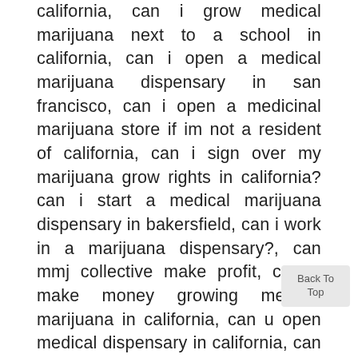california, can i grow medical marijuana next to a school in california, can i open a medical marijuana dispensary in san francisco, can i open a medicinal marijuana store if im not a resident of california, can i sign over my marijuana grow rights in california? can i start a medical marijuana dispensary in bakersfield, can i work in a marijuana dispensary?, can mmj collective make profit, can u make money growing medical marijuana in california, can u open medical dispensary in california, can u still open a dispensary up in ca, can you go to a dispensary with only yor papers, can you go to college for growing marijuana, can you go to college for marijuana?, can you go to dispensaries every day?, can you grow medical cannabis for dispensories?, can you grow weed in california in your house, can you have a marijuana dispencory out of your house, can you have a